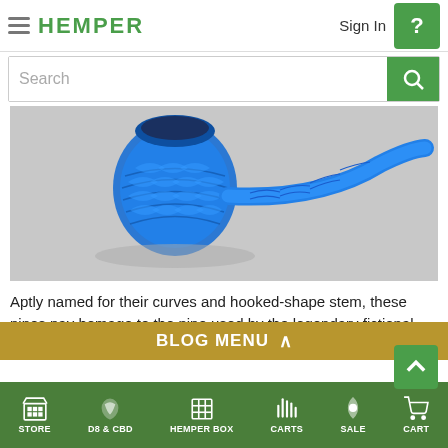HEMPER | Sign In
Search
[Figure (photo): A blue ornate glass sherlock pipe with detailed scale pattern, lying on a grey concrete surface.]
Aptly named for their curves and hooked-shape stem, these pipes pay homage to the pipe used by the legendary fictional character, Sherlock Holmes.
BLOG MENU
by Sherlock Holmes, these pipes utilize a bowl for
STORE | D8 & CBD | HEMPER BOX | CARTS | SALE | CART